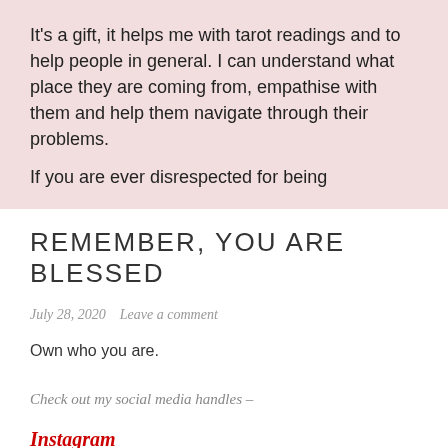It's a gift, it helps me with tarot readings and to help people in general. I can understand what place they are coming from, empathise with them and help them navigate through their problems.
If you are ever disrespected for being
REMEMBER, YOU ARE BLESSED
July 28, 2020   Leave a comment
Own who you are.
Check out my social media handles –
Instagram